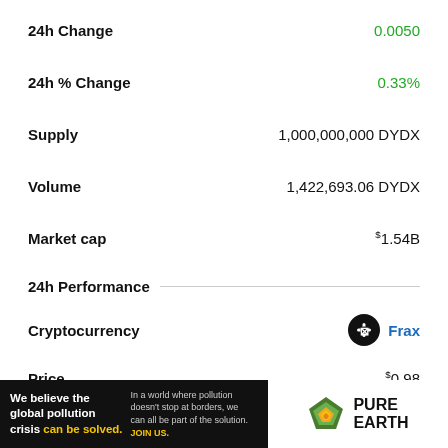24h Change — 0.0050
24h % Change — 0.33%
Supply — 1,000,000,000 DYDX
Volume — 1,422,693.06 DYDX
Market cap — $1.54B
24h Performance
Cryptocurrency — Frax
Price — $0.98
24h Change — -0.02
24h % Change — -1.50%
[Figure (other): Pure Earth advertisement banner: We believe the global pollution crisis can be solved. In a world where pollution doesn't stop at borders, we can all be part of the solution. JOIN US. Pure Earth logo.]